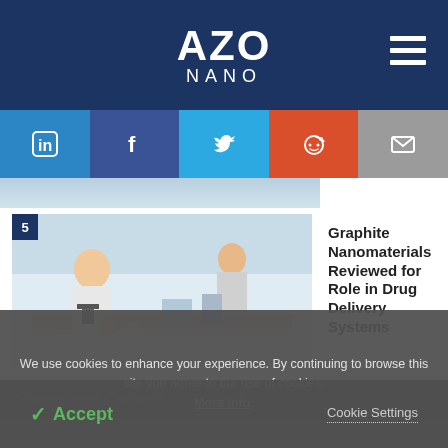AZO NANO
[Figure (logo): AZO Nano website header with logo and hamburger menu on dark navy background]
[Figure (infographic): Social share buttons: LinkedIn (blue), Facebook (dark blue), Twitter (light blue), Reddit (orange), Email (grey)]
[Figure (photo): Partial lab photo visible at top]
5
[Figure (photo): Lab photo showing researchers in white coats working with microscope and lab equipment]
Graphite Nanomaterials Reviewed for Role in Drug Delivery Systems
Sponsored Content
We use cookies to enhance your experience. By continuing to browse this site you agree to our use of cookies. More info.
✓ Accept
Cookie Settings